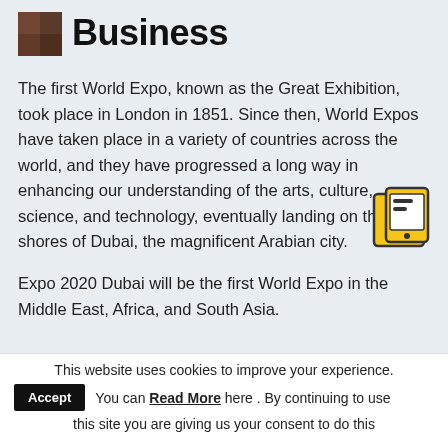Business
[Figure (logo): Small decorative image/logo in top left corner]
The first World Expo, known as the Great Exhibition, took place in London in 1851. Since then, World Expos have taken place in a variety of countries across the world, and they have progressed a long way in enhancing our understanding of the arts, culture, science, and technology, eventually landing on the shores of Dubai, the magnificent Arabian city.
[Figure (illustration): Yellow/gold icon of a tablet/phone with message bubbles, floating to the right of the main text]
Expo 2020 Dubai will be the first World Expo in the Middle East, Africa, and South Asia.
This website uses cookies to improve your experience. You can Read More here . By continuing to use this site you are giving us your consent to do this